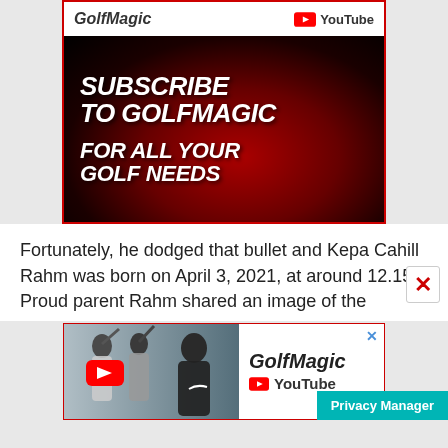[Figure (screenshot): GolfMagic YouTube channel subscription advertisement on dark red/black background with bold white italic text reading SUBSCRIBE TO GOLFMAGIC FOR ALL YOUR GOLF NEEDS]
Fortunately, he dodged that bullet and Kepa Cahill Rahm was born on April 3, 2021, at around 12.15 Proud parent Rahm shared an image of the
[Figure (screenshot): GolfMagic YouTube channel banner ad with golfers photo on left and GolfMagic YouTube logo on right]